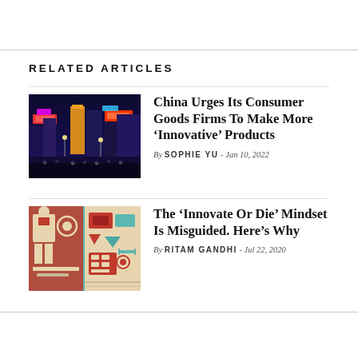RELATED ARTICLES
[Figure (photo): Nighttime cityscape of a busy Chinese shopping street with colorful neon lights and crowds of people]
China Urges Its Consumer Goods Firms To Make More 'Innovative' Products
By SOPHIE YU - Jan 10, 2022
[Figure (illustration): Colorful retro-style geometric illustration with abstract shapes, tools, and figures in red, teal, and beige tones]
The ‘Innovate Or Die’ Mindset Is Misguided. Here’s Why
By RITAM GANDHI - Jul 22, 2020